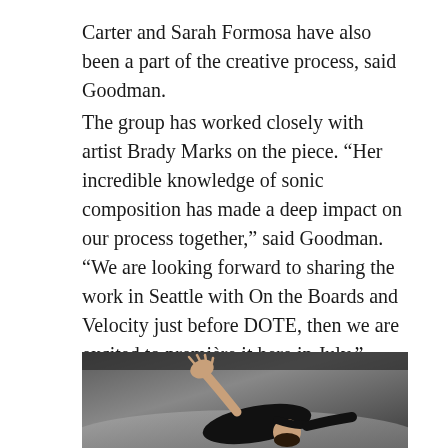Carter and Sarah Formosa have also been a part of the creative process, said Goodman.
The group has worked closely with artist Brady Marks on the piece. “Her incredible knowledge of sonic composition has made a deep impact on our process together,” said Goodman. “We are looking forward to sharing the work in Seattle with On the Boards and Velocity just before DOTE, then we are excited to première it here in July.”
[Figure (photo): A dancer in a black outfit lies with their head thrown back, one arm extended upward with hand open, photographed from above in a large grey studio space.]